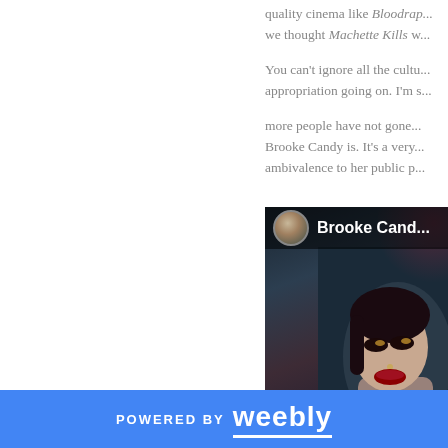quality cinema like Bloodrap... we thought Machette Kills w...
You can't ignore all the cultu... appropriation going on. I'm s...
more people have not gone... Brooke Candy is. It's a very... ambivalence to her public pe...
[Figure (screenshot): Partial screenshot of a video player showing 'Brooke Cand...' channel name with avatar, and a close-up of a woman's face with dramatic makeup against a dark background]
POWERED BY weebly